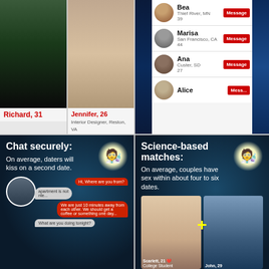[Figure (screenshot): Dating app profiles showing Richard, 31 and Jennifer, 26, Interior Designer, Reston, VA]
[Figure (screenshot): Dating app match list showing Bea (Thief River, MN, 39), Marisa (San Francisco, CA, 44), Ana (Custer, SD, 27), Alice with Message buttons]
[Figure (screenshot): Chat securely feature: On average, daters will kiss on a second date. Shows chat bubbles with conversation.]
[Figure (screenshot): Science-based matches: On average, couples have sex within about four to six dates. Shows Scarlett, 21 College Student and John, 29 profile cards with yellow plus sign.]